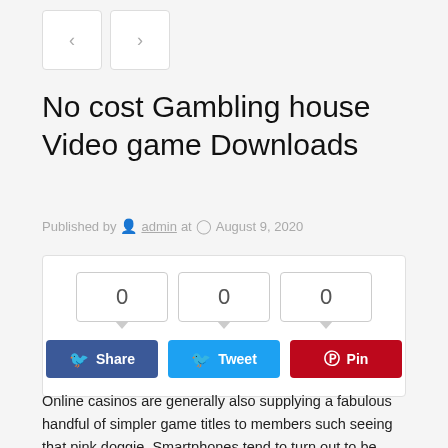[Figure (other): Navigation prev/next buttons (< and >)]
No cost Gambling house Video game Downloads
Published by admin at August 9, 2020
[Figure (other): Social share widget with counters (0, 0, 0) and Share, Tweet, Pin buttons]
Online casinos are generally also supplying a fabulous handful of simpler game titles to members such seeing that pink doggie. Smartphones tend to turn out to be handier, but again then, if an important device is used by you, you shall have an important good deal of tv screen living space, which are able to distress when learning casino wars never, video tutorial poker